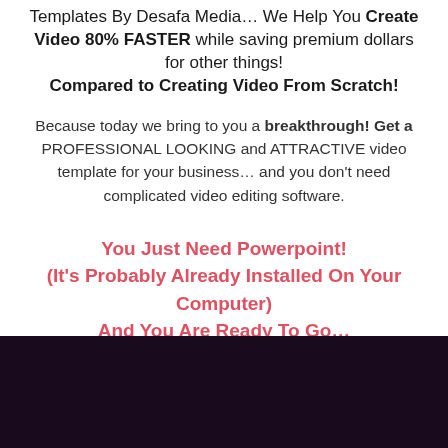Templates By Desafa Media… We Help You Create Video 80% FASTER while saving premium dollars for other things! Compared to Creating Video From Scratch!
Because today we bring to you a breakthrough! Get a PROFESSIONAL LOOKING and ATTRACTIVE video template for your business… and you don't need complicated video editing software.
You Just Need Powerpoint! (It's Probably Already Installed On Your Computer) And You Are Ready To Go…